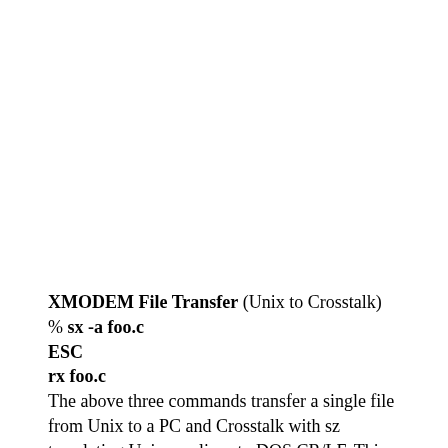XMODEM File Transfer (Unix to Crosstalk)
% sx -a foo.c
ESC
rx foo.c
The above three commands transfer a single file from Unix to a PC and Crosstalk with sz translating Unix newlines to DOS CR/LF. This combination is much